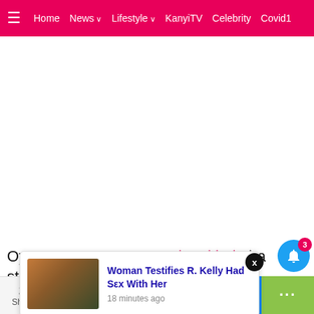≡  Home  News ∨  Lifestyle ∨  KanyiTV  Celebrity  Covid1
Oyo State Governor, Seyi Makinde ha strongly denied ne delay in f the state
[Figure (screenshot): Popup notification card: thumbnail image of two people (one in orange clothing), link text 'Woman Testifies R. Kelly Had Sex With Her', timestamp '18 minutes ago']
20 Shares
[Figure (infographic): Social sharing bar with Facebook, Twitter, WhatsApp, Messenger, and more buttons]